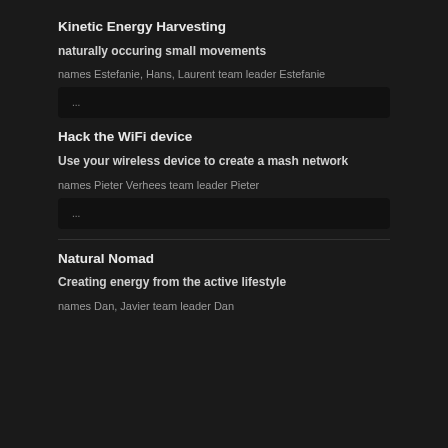Kinetic Energy Harvesting
naturally occuring small movements
names Estefanie, Hans, Laurent team leader Estefanie
...
Hack the WiFi device
Use your wireless device to create a mash network
names Pieter Verhees team leader Pieter
...
Natural Nomad
Creating energy from the active lifestyle
names Dan, Javier team leader Dan